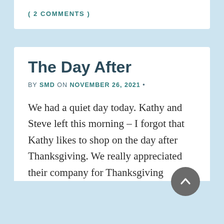( 2 COMMENTS )
The Day After
BY SMD ON NOVEMBER 26, 2021 •
We had a quiet day today. Kathy and Steve left this morning – I forgot that Kathy likes to shop on the day after Thanksgiving. We really appreciated their company for Thanksgiving